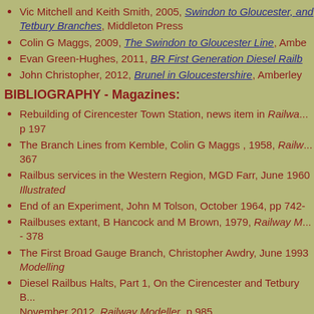Vic Mitchell and Keith Smith, 2005, Swindon to Gloucester, and Tetbury Branches, Middleton Press
Colin G Maggs, 2009, The Swindon to Gloucester Line, Amb...
Evan Green-Hughes, 2011, BR First Generation Diesel Railb...
John Christopher, 2012, Brunel in Gloucestershire, Amberley...
BIBLIOGRAPHY - Magazines:
Rebuilding of Cirencester Town Station, news item in Railway... p 197
The Branch Lines from Kemble, Colin G Maggs, 1958, Railw... 367
Railbus services in the Western Region, MGD Farr, June 1960, Illustrated
End of an Experiment, John M Tolson, October 1964, pp 742-...
Railbuses extant, B Hancock and M Brown, 1979, Railway M... - 378
The First Broad Gauge Branch, Christopher Awdry, June 1993, Modelling
Diesel Railbus Halts, Part 1, On the Cirencester and Tetbury B... November 2012, Railway Modeller, p 985
Beeching 50 - Tetbury and Cirencester, Chris Leigh, Steam W... 54
Cirencester & District - Railways, Nigel Bray, 2016, Victoria... Gloucestershire Vol XVI
Mike Foster, 2019, Kemble Station...